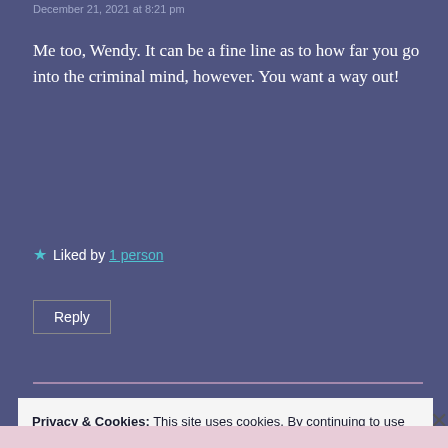December 21, 2021 at 8:21 pm
Me too, Wendy. It can be a fine line as to how far you go into the criminal mind, however. You want a way out!
★ Liked by 1 person
Reply
Privacy & Cookies: This site uses cookies. By continuing to use this website, you agree to their use.
To find out more, including how to control cookies, see here: Cookie Policy
Close and accept